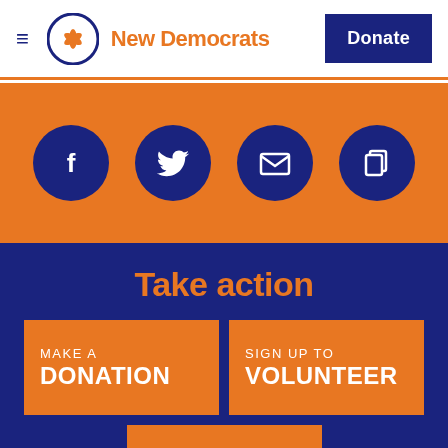New Democrats | Donate
[Figure (infographic): Orange banner with four dark blue circular social media icons: Facebook, Twitter, Email, and Copy/Share]
Take action
MAKE A DONATION
SIGN UP TO VOLUNTEER
BECOME A MEMBER